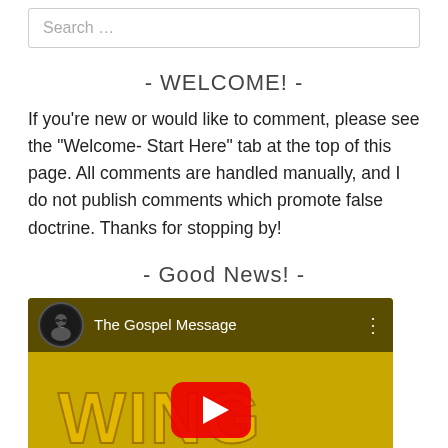Search …
- WELCOME! -
If you're new or would like to comment, please see the "Welcome- Start Here" tab at the top of this page. All comments are handled manually, and I do not publish comments which promote false doctrine. Thanks for stopping by!
- Good News! -
[Figure (screenshot): YouTube video thumbnail for 'The Gospel Message' showing a channel icon of a man with sunglasses, a red YouTube play button in the center, and yellow stylized text in the background reading 'WING DONG' (partial).]